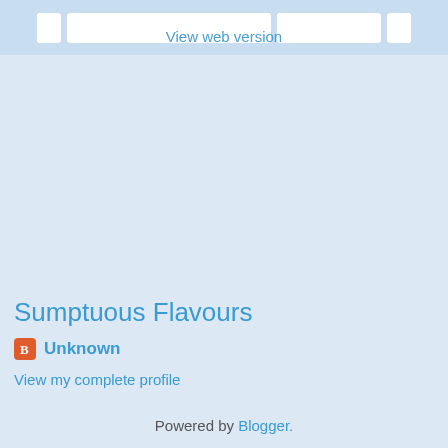View web version
Sumptuous Flavours
Unknown
View my complete profile
Powered by Blogger.